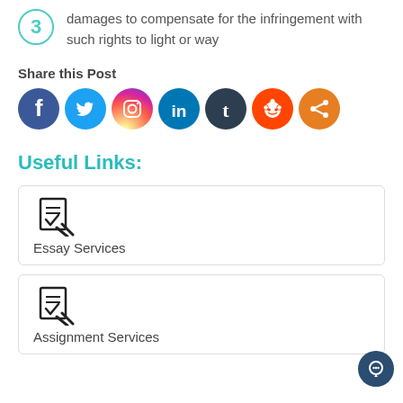3 damages to compensate for the infringement with such rights to light or way
Share this Post
[Figure (other): Row of social media share buttons: Facebook, Twitter, Instagram, LinkedIn, Tumblr, Reddit, Share]
Useful Links:
Essay Services
Assignment Services